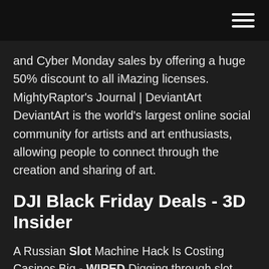and Cyber Monday sales by offering a huge 50% discount to all iMazing licenses. MightyRaptor's Journal | DeviantArt DeviantArt is the world's largest online social community for artists and art enthusiasts, allowing people to connect through the creation and sharing of art.
DJI Black Friday Deals - 3D Insider
A Russian Slot Machine Hack Is Costing Casinos Big - WIRED Digging through slot machine source code helped a St. Petersburg-based syndicate make off with millions. A Russian Slot Machine Hack Is Costing Casinos Big Time | WIRED Amazon Pre-Black Friday 2018: 4 Deals On Alexa-